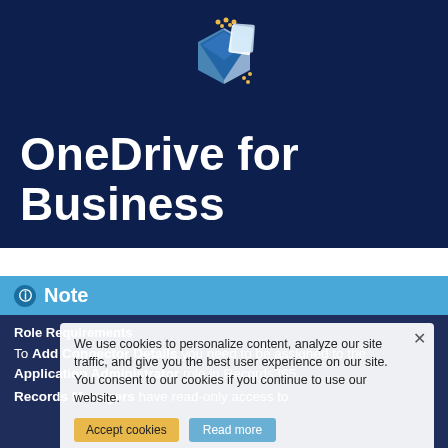[Figure (logo): OneDrive for Business logo — layered blue cube/diamond icon with gold dots on dark navy background]
OneDrive for Business
Note
Role Requirements
To Add Connector Details you need to be assigned to the Application Administrator role in Records365.
We use cookies to personalize content, analyze our site traffic, and give you the best user experience on our site. You consent to our cookies if you continue to use our website.
Records Managers have read-only access to